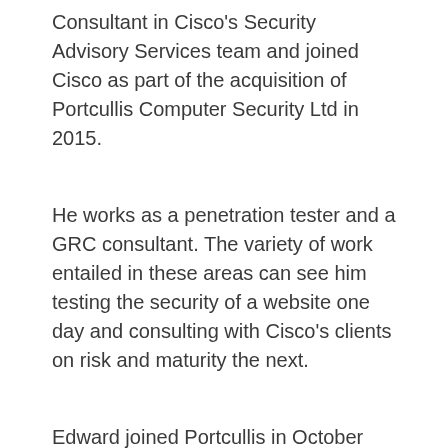Consultant in Cisco's Security Advisory Services team and joined Cisco as part of the acquisition of Portcullis Computer Security Ltd in 2015.
He works as a penetration tester and a GRC consultant. The variety of work entailed in these areas can see him testing the security of a website one day and consulting with Cisco's clients on risk and maturity the next.
Edward joined Portcullis in October 2015 after obtaining a distinction in an MSc Infromation Security degree at Royal Holloway University of London. Previously, he has worked in finance and also has a PhD in Astrophysics. He also holds